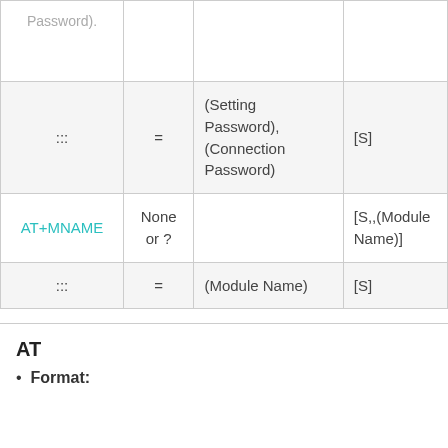| ::: | = | (Setting Password),
(Connection Password) | [S] |
| AT+MNAME | None
or ? |  | [S,,(Module Name)] |
| ::: | = | (Module Name) | [S] |
AT
Format: